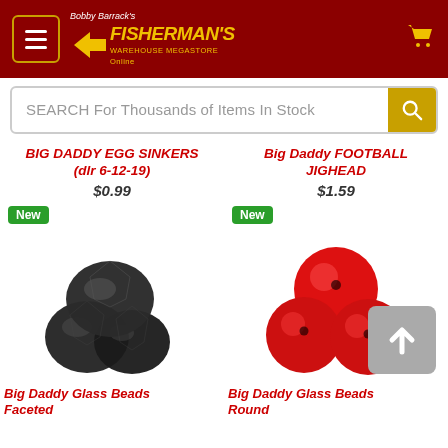[Figure (screenshot): Bobby Barrack's Fisherman's Warehouse Megastore Online logo and header navigation with hamburger menu and cart icon on dark red background]
SEARCH For Thousands of Items In Stock
BIG DADDY EGG SINKERS (dlr 6-12-19)
$0.99
Big Daddy FOOTBALL JIGHEAD
$1.59
New
[Figure (photo): Three black faceted glass beads clustered together on white background]
New
[Figure (photo): Three red round glass beads clustered together on white background]
Big Daddy Glass Beads Faceted
Big Daddy Glass Beads Round